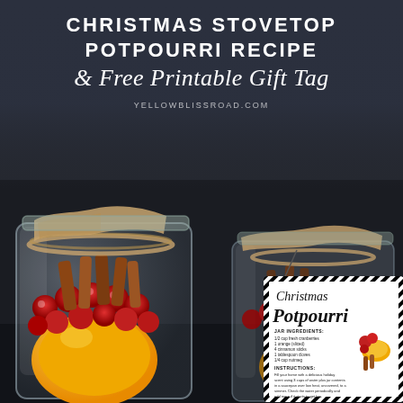CHRISTMAS STOVETOP POTPOURRI RECIPE & Free Printable Gift Tag
YELLOWBLISSROAD.COM
[Figure (photo): Two mason jars filled with Christmas stovetop potpourri ingredients including cranberries, orange slices, and cinnamon sticks, tied with twine and brown paper. A decorative black and white striped gift tag with the recipe is attached to the front jar.]